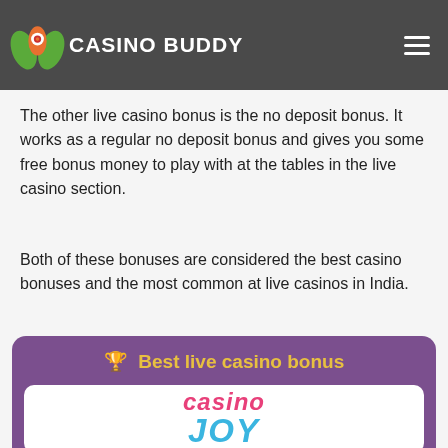Casino Buddy
worry about running low on cash and instead care free at the live casino.
The other live casino bonus is the no deposit bonus. It works as a regular no deposit bonus and gives you some free bonus money to play with at the tables in the live casino section.
Both of these bonuses are considered the best casino bonuses and the most common at live casinos in India.
🏆  Best live casino bonus
[Figure (logo): Casino Joy logo — 'casino' in pink italic bold text above 'JOY' in large blue italic bold text]